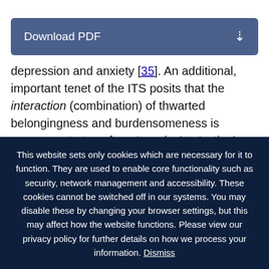Download PDF
depression and anxiety [35]. An additional, important tenet of the ITS posits that the interaction (combination) of thwarted belongingness and burdensomeness is necessary to transform ‘passive’ to ‘active’ suicide ideation, and that likewise, that suicide attempts will only occur in the presence of active suicide ideation (thwarted
This website sets only cookies which are necessary for it to function. They are used to enable core functionality such as security, network management and accessibility. These cookies cannot be switched off in our systems. You may disable these by changing your browser settings, but this may affect how the website functions. Please view our privacy policy for further details on how we process your information. Dismiss